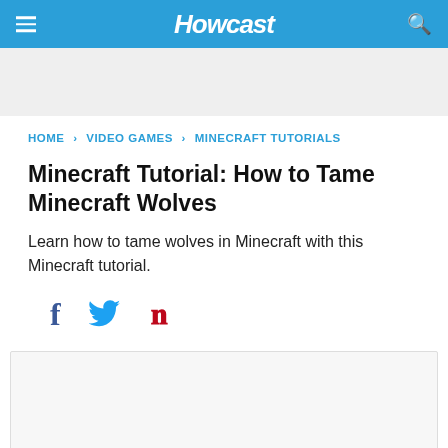Howcast
HOME › VIDEO GAMES › MINECRAFT TUTORIALS
Minecraft Tutorial: How to Tame Minecraft Wolves
Learn how to tame wolves in Minecraft with this Minecraft tutorial.
[Figure (other): Social sharing icons: Facebook (f), Twitter (bird), Pinterest (p)]
[Figure (other): Video player placeholder area]